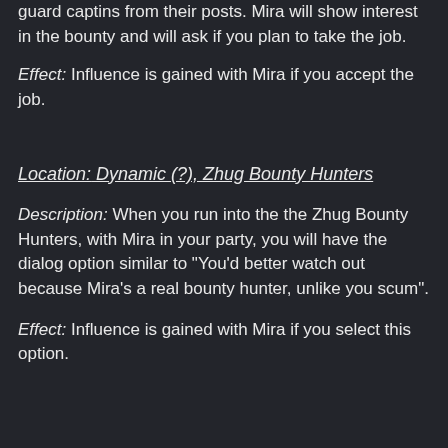guard captins from their posts. Mira will show interest in the bounty and will ask if you plan to take the job.
Effect: Influence is gained with Mira if you accept the job.
Location: Dynamic (?), Zhug Bounty Hunters
Description: When you run into the the Zhug Bounty Hunters, with Mira in your party, you will have the dialog option similar to "You'd better watch out because Mira's a real bounty hunter, unlike you scum".
Effect: Influence is gained with Mira if you select this option.